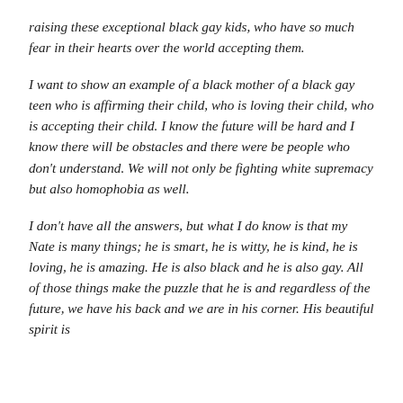raising these exceptional black gay kids, who have so much fear in their hearts over the world accepting them.
I want to show an example of a black mother of a black gay teen who is affirming their child, who is loving their child, who is accepting their child. I know the future will be hard and I know there will be obstacles and there were be people who don't understand. We will not only be fighting white supremacy but also homophobia as well.
I don't have all the answers, but what I do know is that my Nate is many things; he is smart, he is witty, he is kind, he is loving, he is amazing. He is also black and he is also gay. All of those things make the puzzle that he is and regardless of the future, we have his back and we are in his corner. His beautiful spirit is